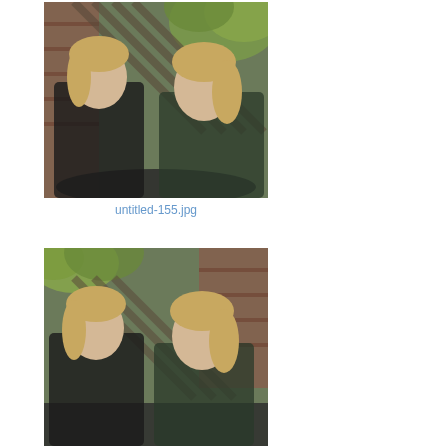[Figure (photo): Two blonde women posing together outdoors near a brick wall and wooden slat fence, leaning on a dark metal surface. The left woman rests her chin on her hands with arms crossed; the right woman smiles with arms crossed. Both wearing dark clothing.]
untitled-155.jpg
[Figure (photo): Same two blonde women in the same outdoor setting near a brick wall and wooden slat fence, slightly different crop showing more of the background. The left woman rests her chin on her hand; the right woman has a more neutral expression. Both wearing dark clothing.]